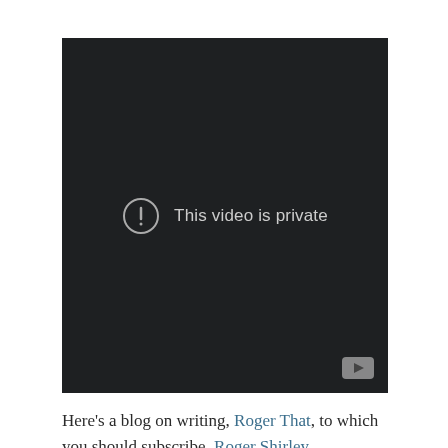[Figure (screenshot): A dark-background video player showing 'This video is private' message with an exclamation circle icon and a small play button in the bottom-right corner.]
Here's a blog on writing, Roger That, to which you should subscribe. Roger Shirley,